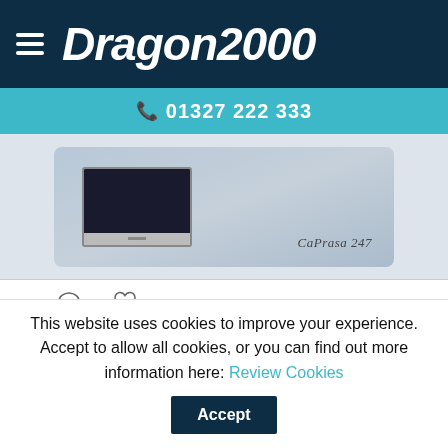Dragon2000 — 01327 222 333
[Figure (screenshot): Partial screenshot showing a computer monitor display with 'CaPrasa 247' watermark text, on a blurred background]
Dragon2000 @Dragon2000 · Aug 12 — If you're looking for a website redesign and great support to help you every step of the way, visit the Dragon2000 website to see how we can help: dragon2000.co.uk/car-dealer-web...
This website uses cookies to improve your experience. Accept to allow all cookies, or you can find out more information here: Review Cookies — Accept